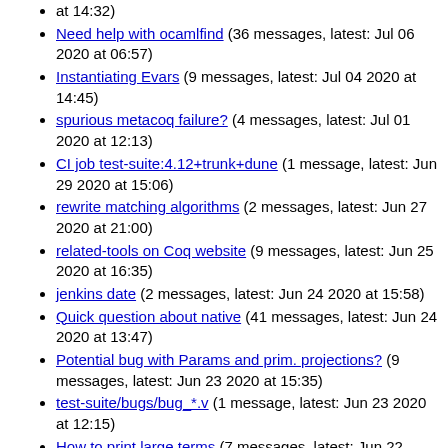(... continued) at 14:32)
Need help with ocamlfind (36 messages, latest: Jul 06 2020 at 06:57)
Instantiating Evars (9 messages, latest: Jul 04 2020 at 14:45)
spurious metacoq failure? (4 messages, latest: Jul 01 2020 at 12:13)
CI job test-suite:4.12+trunk+dune (1 message, latest: Jun 29 2020 at 15:06)
rewrite matching algorithms (2 messages, latest: Jun 27 2020 at 21:00)
related-tools on Coq website (9 messages, latest: Jun 25 2020 at 16:35)
jenkins date (2 messages, latest: Jun 24 2020 at 15:58)
Quick question about native (41 messages, latest: Jun 24 2020 at 13:47)
Potential bug with Params and prim. projections? (9 messages, latest: Jun 23 2020 at 15:35)
test-suite/bugs/bug_*.v (1 message, latest: Jun 23 2020 at 12:15)
How to print large terms (7 messages, latest: Jun 22 2020 at 19:30)
coq-performance-tests (1 message, latest: Jun 22 2020 at 18:25)
CI DAG view (3 messages, latest: Jun 19 2020 at 15:40)
Coq 8.11.2 release plans (92 messages, latest: Jun 19 2020 at